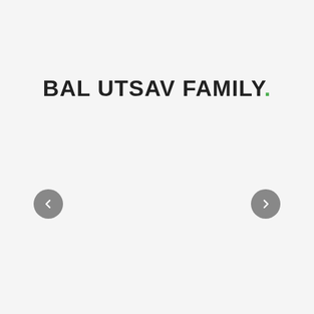BAL UTSAV FAMILY.
[Figure (other): Left navigation arrow button (chevron left) in a grey circle]
[Figure (other): Right navigation arrow button (chevron right) in a grey circle]